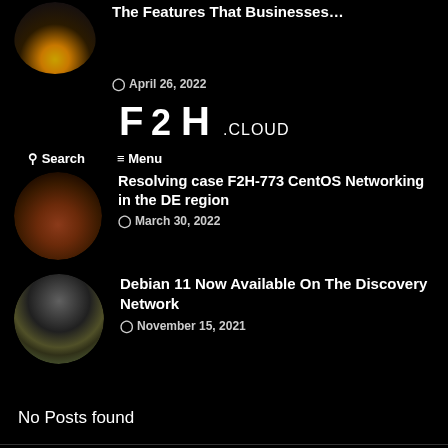[Figure (photo): Circular thumbnail of a city at night with lights]
The Features That Businesses…
April 26, 2022
[Figure (logo): F2H.CLOUD logo in white bold text]
Search   Menu
[Figure (photo): Circular thumbnail of a canyon landscape at dusk]
Resolving case F2H-773 CentOS Networking in the DE region
March 30, 2022
[Figure (photo): Circular thumbnail of a green field with dramatic cloudy sky]
Debian 11 Now Available On The Discovery Network
November 15, 2021
No Posts found
© Copyright https://f2h.cloud. Proudly independent since 2003.